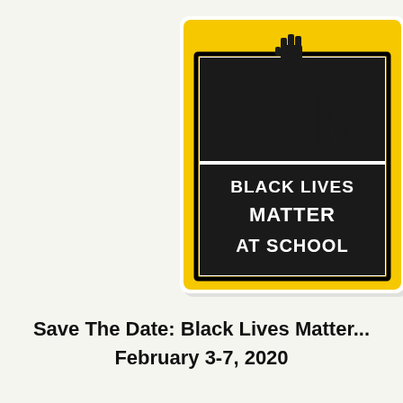[Figure (logo): Black Lives Matter at School logo: yellow background with black border frame, large 'BLM' letters in black with a raised fist above the 'I', and 'BLACK LIVES MATTER AT SCHOOL' text in white on a black banner below.]
Save The Date: Black Lives Matter... February 3-7, 2020